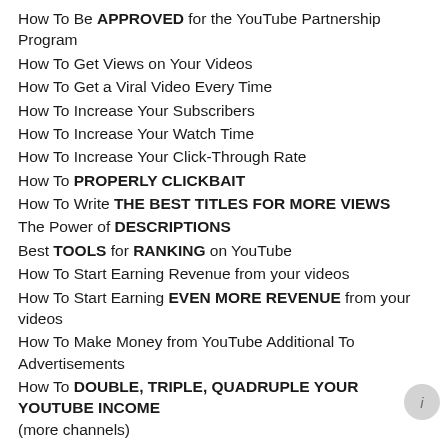How To Be APPROVED for the YouTube Partnership Program
How To Get Views on Your Videos
How To Get a Viral Video Every Time
How To Increase Your Subscribers
How To Increase Your Watch Time
How To Increase Your Click-Through Rate
How To PROPERLY CLICKBAIT
How To Write THE BEST TITLES FOR MORE VIEWS
The Power of DESCRIPTIONS
Best TOOLS for RANKING on YouTube
How To Start Earning Revenue from your videos
How To Start Earning EVEN MORE REVENUE from your videos
How To Make Money from YouTube Additional To Advertisements
How To DOUBLE, TRIPLE, QUADRUPLE YOUR YOUTUBE INCOME (more channels)
My Secret to BEATING THE ALGORITHM
How To Invest your Earned Money Into making MORE MONEY
How To Hire CONTENT Creators + Voice Overs (OUTSOURCE)